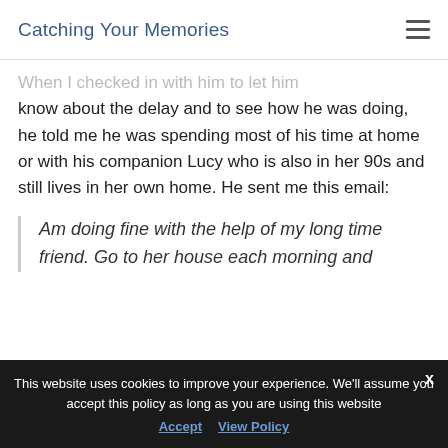Catching Your Memories
When I checked in with him to let him know about the delay and to see how he was doing, he told me he was spending most of his time at home or with his companion Lucy who is also in her 90s and still lives in her own home. He sent me this email:
Am doing fine with the help of my long time friend. Go to her house each morning and …
This website uses cookies to improve your experience. We'll assume you accept this policy as long as you are using this website  Accept  View Policy